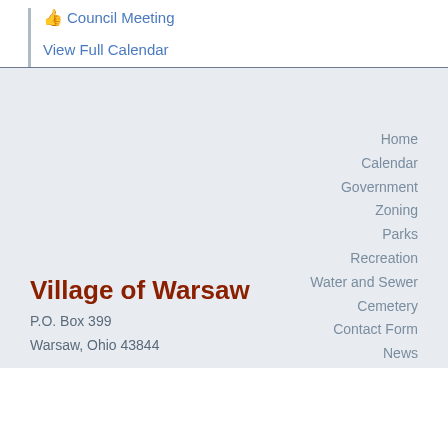Council Meeting
View Full Calendar
Home
Calendar
Government
Zoning
Parks
Recreation
Water and Sewer
Cemetery
Contact Form
News
Village of Warsaw
P.O. Box 399
Warsaw, Ohio 43844